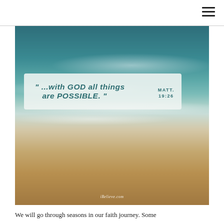[Figure (photo): Aerial photo of a beach with ocean waves and sandy shore. Overlaid is a semi-transparent box with handwritten-style text reading: "...with GOD all things are POSSIBLE." MATT. 19:26. Watermark reads iBelieve.com]
We will go through seasons in our faith journey. Some